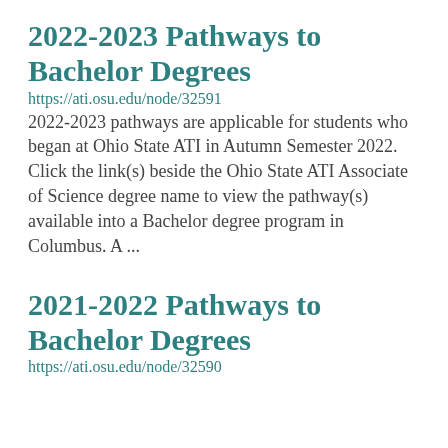2022-2023 Pathways to Bachelor Degrees
https://ati.osu.edu/node/32591
2022-2023 pathways are applicable for students who began at Ohio State ATI in Autumn Semester 2022. Click the link(s) beside the Ohio State ATI Associate of Science degree name to view the pathway(s) available into a Bachelor degree program in Columbus. A ...
2021-2022 Pathways to Bachelor Degrees
https://ati.osu.edu/node/32590